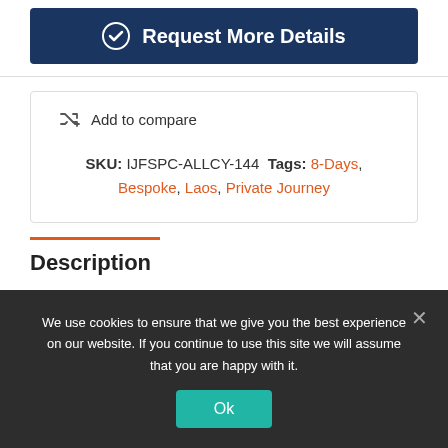Request More Details
Add to compare
SKU: IJFSPC-ALLCY-144 Tags: 8-Days, Bespoke, Laos, Private Journey
Description
We use cookies to ensure that we give you the best experience on our website. If you continue to use this site we will assume that you are happy with it.